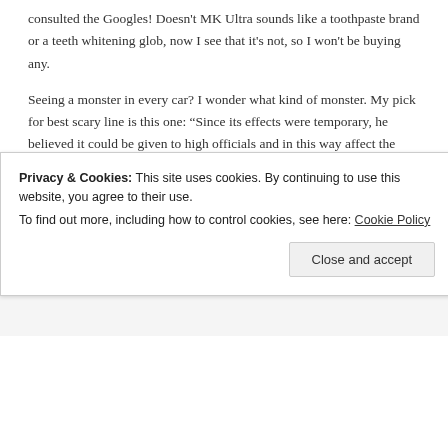consulted the Googles! Doesn't MK Ultra sounds like a toothpaste brand or a teeth whitening glob, now I see that it's not, so I won't be buying any.
Seeing a monster in every car? I wonder what kind of monster. My pick for best scary line is this one: “Since its effects were temporary, he believed it could be given to high officials and in this way affect the course of important meetings, speeches etc.”
SWATJESTER says:
November 30, 2012 at 3:27 AM
It’s certainly better sounding than modern naming schemes. I’m sure today it would be called “Operation Kosher Laxative” or “Operation Coniferous Dunk”.
Privacy & Cookies: This site uses cookies. By continuing to use this website, you agree to their use.
To find out more, including how to control cookies, see here: Cookie Policy